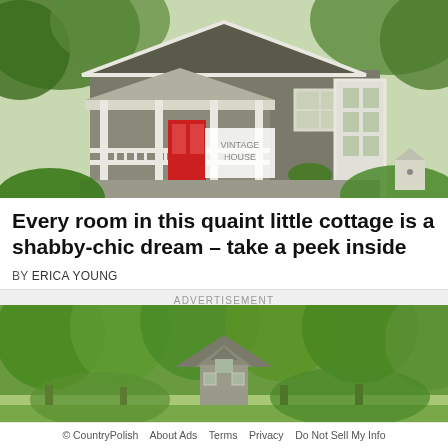[Figure (photo): Exterior of a quaint gray cottage with white trim, front porch with white railing, red door, potted plants, vintage signage, surrounded by lush green trees]
Every room in this quaint little cottage is a shabby-chic dream – take a peek inside
BY ERICA YOUNG
ADVERTISEMENT
[Figure (photo): Aerial/distant view of a small cottage with gray roof nestled among dense green forest trees]
© CountryPolish   About Ads   Terms   Privacy   Do Not Sell My Info